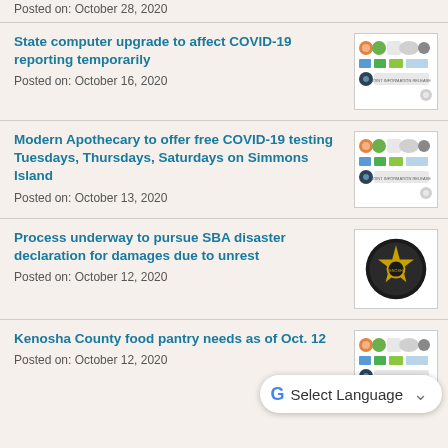Posted on: October 28, 2020
State computer upgrade to affect COVID-19 reporting temporarily
Posted on: October 16, 2020
Modern Apothecary to offer free COVID-19 testing Tuesdays, Thursdays, Saturdays on Simmons Island
Posted on: October 13, 2020
Process underway to pursue SBA disaster declaration for damages due to unrest
Posted on: October 12, 2020
Kenosha County food pantry needs as of Oct. 12
Posted on: October 12, 2020